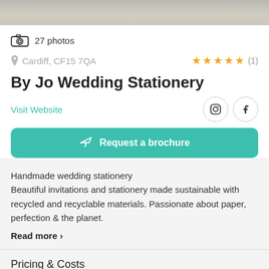[Figure (photo): Top portion of a wedding stationery photo, muted neutral tones]
27 photos
Cardiff, CF15 7QA ★★★★★ (1)
By Jo Wedding Stationery
Visit Website
Request a brochure
Handmade wedding stationery
Beautiful invitations and stationery made sustainable with recycled and recyclable materials. Passionate about paper, perfection & the planet.
Read more >
Pricing & Costs